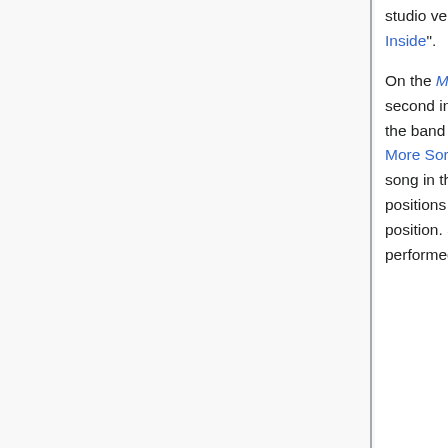studio version of the song returned in 2006, where it was performed mid-set after "From The Inside".
On the Minutes To Midnight touring cycle, "Lying From You" returned to it's early-set position, second in the sets early on after "One Step Closer". The song saw a little movement when the band began rotating setlists on Projekt Revolution. Set A had the song fourth, after "No More Sorrow", but both Set B and Set C had the song in its regular position as the second song in the set. That stayed consistent for the rest of the year. In 2008, the song changed positions with the introduction of new setlists. In Set R, the song was mid-set in the sixth position. Set S had it earlier in the third position, and Set T featured to song as the fifth song performed. At